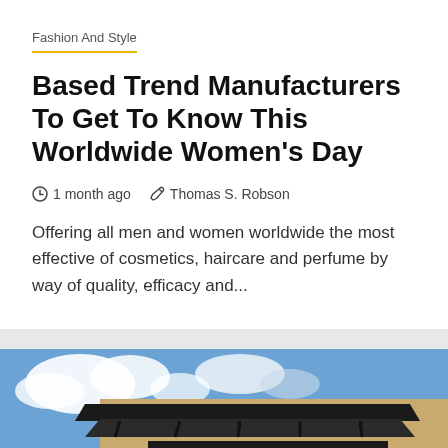Fashion And Style
Based Trend Manufacturers To Get To Know This Worldwide Women's Day
1 month ago   Thomas S. Robson
Offering all men and women worldwide the most effective of cosmetics, haircare and perfume by way of quality, efficacy and...
[Figure (photo): Exterior of a Sally Beauty Supply store with brick facade and dark roof canopy against a blue sky with clouds]